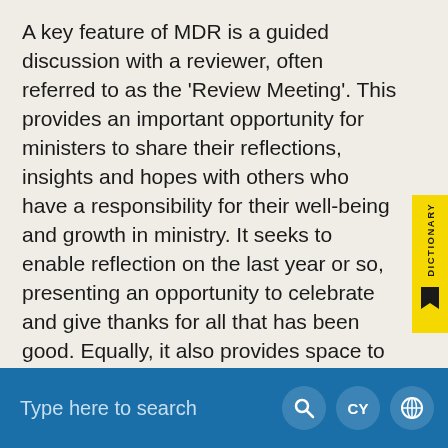A key feature of MDR is a guided discussion with a reviewer, often referred to as the 'Review Meeting'. This provides an important opportunity for ministers to share their reflections, insights and hopes with others who have a responsibility for their well-being and growth in ministry. It seeks to enable reflection on the last year or so, presenting an opportunity to celebrate and give thanks for all that has been good. Equally, it also provides space to acknowledge what has not gone so well, and to identify where additional guidance and support may be required.
Ministers work in a wide variety of different
Type here to search